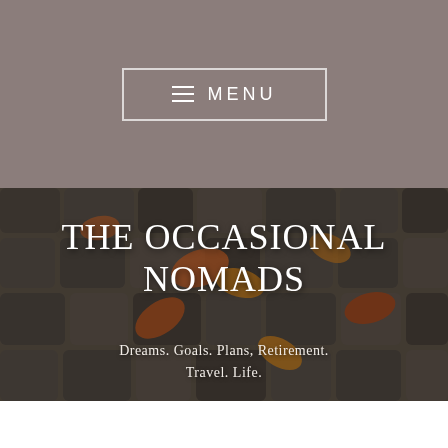[Figure (screenshot): Navigation menu button with hamburger icon and MENU text on taupe/brown background]
THE OCCASIONAL NOMADS
Dreams. Goals. Plans, Retirement. Travel. Life.
[Figure (screenshot): WordPress Follow button bar at bottom with follow icon and ellipsis menu]